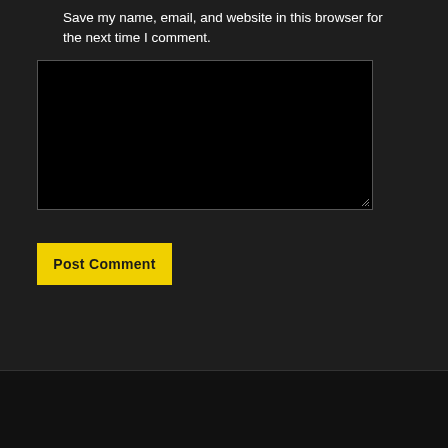Save my name, email, and website in this browser for the next time I comment.
[Figure (screenshot): Dark textarea input box with resize handle]
Post Comment
[Figure (logo): WhatsApp green circle logo icon with house/water drop shape overlay]
OUR CONTACT DETAILS
[Figure (other): Green circle chat/message icon button]